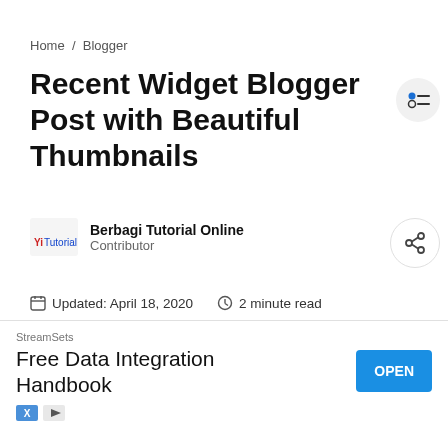Home / Blogger
Recent Widget Blogger Post with Beautiful Thumbnails
Berbagi Tutorial Online
Contributor
Updated: April 18, 2020   2 minute read
[Figure (other): Advertisement: StreamSets - Free Data Integration Handbook with OPEN button]